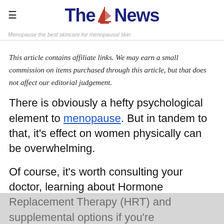The News
Menopause the best skincare for menopausal skin
This article contains affiliate links. We may earn a small commission on items purchased through this article, but that does not affect our editorial judgement.
There is obviously a hefty psychological element to menopause. But in tandem to that, it's effect on women physically can be overwhelming.
Of course, it's worth consulting your doctor, learning about Hormone Replacement Therapy (HRT) and supplemental options if you're